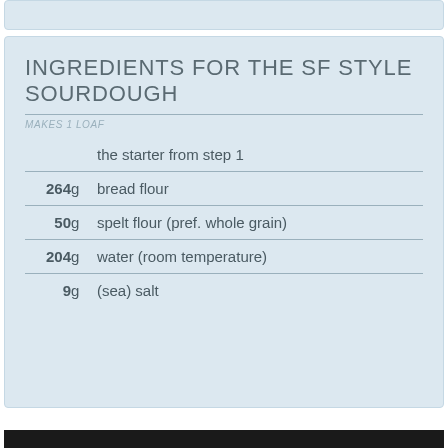INGREDIENTS FOR THE SF STYLE SOURDOUGH
MAKES 1 LOAF
the starter from step 1
264 g bread flour
50 g spelt flour (pref. whole grain)
204 g water (room temperature)
9 g (sea) salt